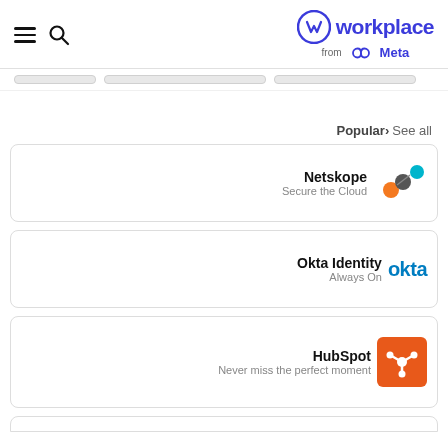Workplace from Meta
[Figure (logo): Workplace from Meta logo with circular W icon and Meta infinity symbol]
Popular › See all
[Figure (logo): Netskope logo — Secure the Cloud — with colored connected dots]
[Figure (logo): Okta Identity logo — Always On — with blue okta wordmark]
[Figure (logo): HubSpot logo — Never miss the perfect moment — with orange sprocket icon]